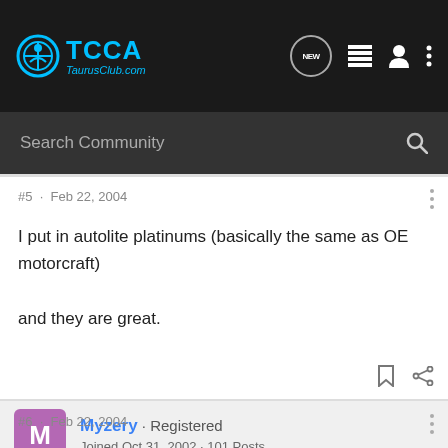TCCA TaurusClub.com
Search Community
#5 · Feb 22, 2004
I put in autolite platinums (basically the same as OE motorcraft) and they are great.
Myzery · Registered
Joined Oct 31, 2002 · 101 Posts
#6 · Feb 22, 2004